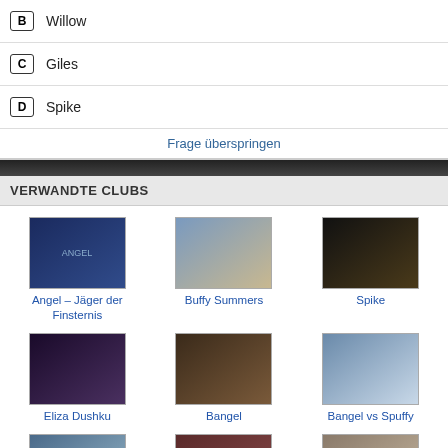B  Willow
C  Giles
D  Spike
Frage überspringen
VERWANDTE CLUBS
[Figure (photo): Angel – Jäger der Finsternis club image]
Angel – Jäger der Finsternis
[Figure (photo): Buffy Summers club image]
Buffy Summers
[Figure (photo): Spike club image]
Spike
[Figure (photo): Eliza Dushku club image]
Eliza Dushku
[Figure (photo): Bangel club image]
Bangel
[Figure (photo): Bangel vs Spuffy club image]
Bangel vs Spuffy
[Figure (photo): Buffy vs Faith club image]
Buffy vs Faith
[Figure (photo): Charisma Carpenter club image]
Charisma Carpenter
[Figure (photo): Willow & Oz club image]
Willow & Oz
Mehr Clubs >>